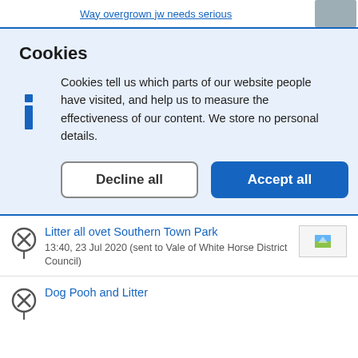Way overgrown jw needs serious
Cookies
Cookies tell us which parts of our website people have visited, and help us to measure the effectiveness of our content. We store no personal details.
Decline all
Accept all
Litter all ovet Southern Town Park
13:40, 23 Jul 2020 (sent to Vale of White Horse District Council)
Dog Pooh and Litter